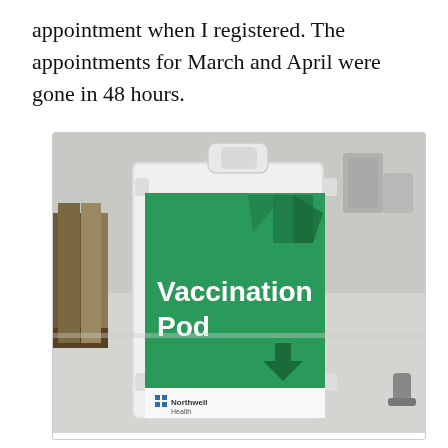appointment when I registered. The appointments for March and April were gone in 48 hours.
[Figure (photo): Photo of a white A-frame sandwich board sign with a green panel reading 'Vaccination Pod' in large white bold text. Decorative dark green arrow/chevron shapes appear on the green panel. The Northwell Health logo is visible at the bottom of the sign. The background shows an indoor facility with people standing nearby and a shiny floor.]